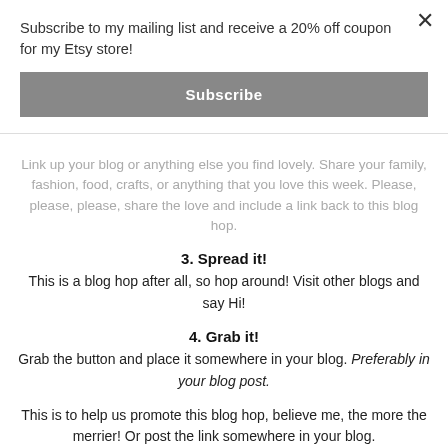Subscribe to my mailing list and receive a 20% off coupon for my Etsy store!
[Figure (other): Gray Subscribe button]
Link up your blog or anything else you find lovely. Share your family, fashion, food, crafts, or anything that you love this week. Please, please, please, share the love and include a link back to this blog hop.
3. Spread it!
This is a blog hop after all, so hop around! Visit other blogs and say Hi!
4. Grab it!
Grab the button and place it somewhere in your blog. Preferably in your blog post.
This is to help us promote this blog hop, believe me, the more the merrier! Or post the link somewhere in your blog.